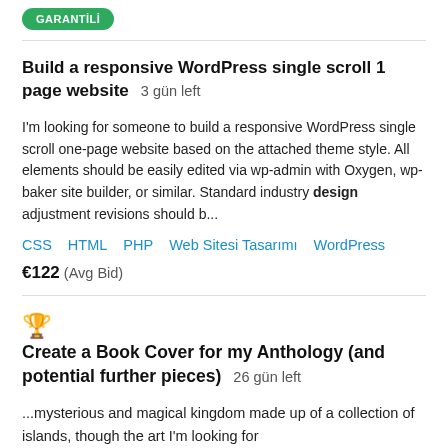[Figure (other): Green pill-shaped button with white text 'GARANTİLİ']
Build a responsive WordPress single scroll 1 page website  3 gün left
I'm looking for someone to build a responsive WordPress single scroll one-page website based on the attached theme style. All elements should be easily edited via wp-admin with Oxygen, wp-baker site builder, or similar. Standard industry design adjustment revisions should b...
CSS  HTML  PHP  Web Sitesi Tasarımı  WordPress
€122  (Avg Bid)
Create a Book Cover for my Anthology (and potential further pieces)  26 gün left
...mysterious and magical kingdom made up of a collection of islands, though the art I'm looking for